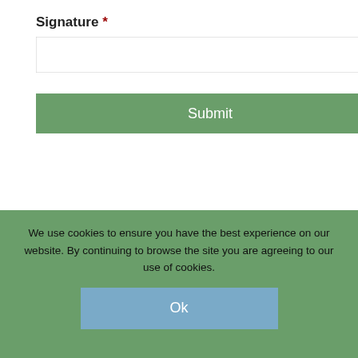Signature *
Submit
FOR MORE INFORMATION CONTACT:
We use cookies to ensure you have the best experience on our website. By continuing to browse the site you are agreeing to our use of cookies.
Ok